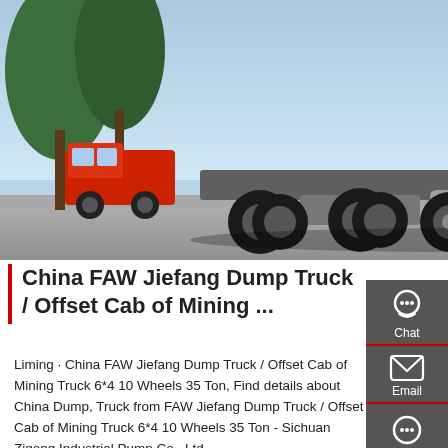[Figure (photo): White FAW Jiefang heavy-duty mining truck / dump truck with offset cab, 6x4 configuration, 10 wheels, photographed on a concrete lot with trees and red trucks in background.]
China FAW Jiefang Dump Truck / Offset Cab of Mining ...
Liming · China FAW Jiefang Dump Truck / Offset Cab of Mining Truck 6*4 10 Wheels 35 Ton, Find details about China Dump, Truck from FAW Jiefang Dump Truck / Offset Cab of Mining Truck 6*4 10 Wheels 35 Ton - Sichuan Zigong Industrial Pump Co., Ltd.